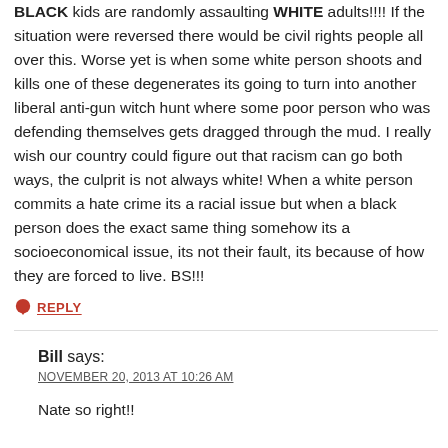BLACK kids are randomly assaulting WHITE adults!!!! If the situation were reversed there would be civil rights people all over this. Worse yet is when some white person shoots and kills one of these degenerates its going to turn into another liberal anti-gun witch hunt where some poor person who was defending themselves gets dragged through the mud. I really wish our country could figure out that racism can go both ways, the culprit is not always white! When a white person commits a hate crime its a racial issue but when a black person does the exact same thing somehow its a socioeconomical issue, its not their fault, its because of how they are forced to live. BS!!!
REPLY
Bill says:
NOVEMBER 20, 2013 AT 10:26 AM
Nate so right!!